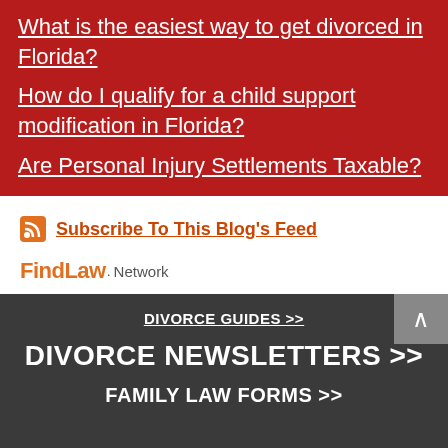What is the easiest way to get divorced in Florida?
How do I qualify for a child support modification in Florida?
Are Personal Injury Settlements Taxable?
Subscribe To This Blog's Feed
[Figure (logo): FindLaw Network logo]
DIVORCE GUIDES >>
DIVORCE NEWSLETTERS >>
FAMILY LAW FORMS >>